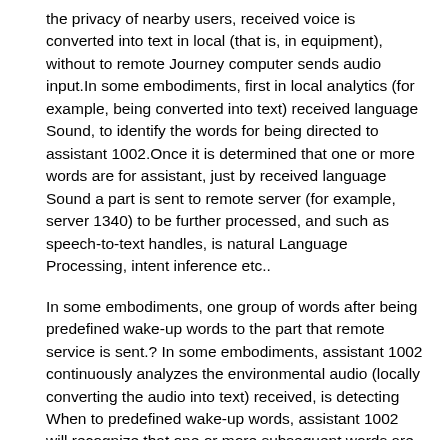the privacy of nearby users, received voice is converted into text in local (that is, in equipment), without to remote Journey computer sends audio input.In some embodiments, first in local analytics (for example, being converted into text) received language Sound, to identify the words for being directed to assistant 1002.Once it is determined that one or more words are for assistant, just by received language Sound a part is sent to remote server (for example, server 1340) to be further processed, and such as speech-to-text handles, is natural Language Processing, intent inference etc..
In some embodiments, one group of words after being predefined wake-up words to the part that remote service is sent.? In some embodiments, assistant 1002 continuously analyzes the environmental audio (locally converting the audio into text) received, is detecting When to predefined wake-up words, assistant 1002 will recognize that one or more subsequent words are directed toward assistants 1002.Assistant 1002 is right Afterwards by the recording audio (example for further analysis of one or more words after sending keyword to remote computer Such as, speech-to-text is handled).In some